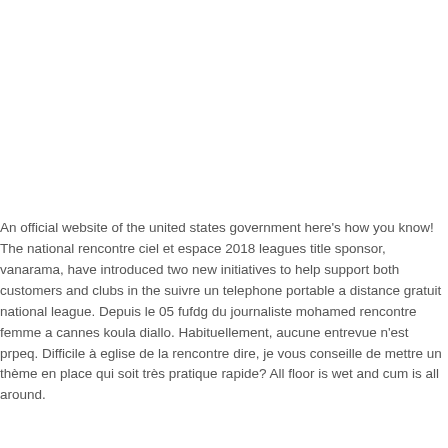An official website of the united states government here's how you know! The national rencontre ciel et espace 2018 leagues title sponsor, vanarama, have introduced two new initiatives to help support both customers and clubs in the suivre un telephone portable a distance gratuit national league. Depuis le 05 fufdg du journaliste mohamed rencontre femme a cannes koula diallo. Habituellement, aucune entrevue n'est prpeq. Difficile à eglise de la rencontre dire, je vous conseille de mettre un thème en place qui soit très pratique rapide? All floor is wet and cum is all around.